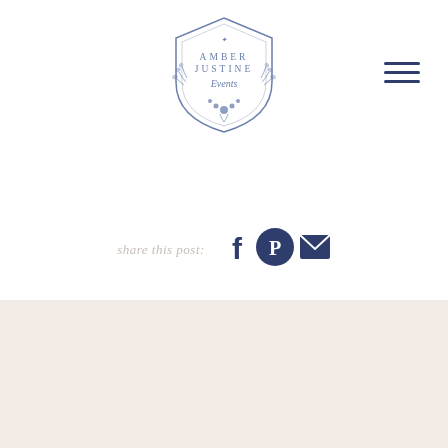[Figure (logo): Amber Justine Events logo — a blue floral crest/shield with text AMBER JUSTINE Events inside, surrounded by botanical illustrations]
[Figure (other): Hamburger menu icon — three horizontal navy blue lines]
share this post:
[Figure (other): Social share icons: Facebook (f), Pinterest (P circle), Email (envelope) — all in navy blue]